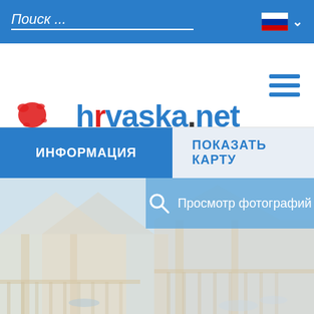Поиск ...
[Figure (logo): hrvaska.net logo with red and blue ink splats]
ИНФОРМАЦИЯ
ПОКАЗАТЬ КАРТУ
[Figure (photo): Faded photo of a beach house with wooden deck and chairs]
Просмотр фотографий